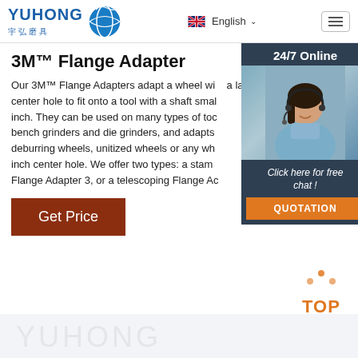YUHONG 宇弘磨具 | English | Navigation
3M™ Flange Adapter
Our 3M™ Flange Adapters adapt a wheel with a large center hole to fit onto a tool with a shaft smaller than 1 inch. They can be used on many types of tools including bench grinders and die grinders, and adapts for use with deburring wheels, unitized wheels or any wheel with a 1 inch center hole. We offer two types: a stamped steel Flange Adapter 3, or a telescoping Flange Ad...
[Figure (photo): Customer service representative with headset, 24/7 Online support widget with chat and quotation button]
Get Price
[Figure (other): TOP scroll-to-top icon with orange dots above text]